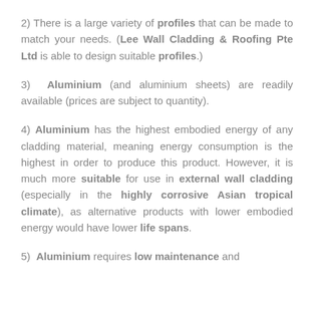2) There is a large variety of profiles that can be made to match your needs. (Lee Wall Cladding & Roofing Pte Ltd is able to design suitable profiles.)
3) Aluminium (and aluminium sheets) are readily available (prices are subject to quantity).
4) Aluminium has the highest embodied energy of any cladding material, meaning energy consumption is the highest in order to produce this product. However, it is much more suitable for use in external wall cladding (especially in the highly corrosive Asian tropical climate), as alternative products with lower embodied energy would have lower life spans.
5) Aluminium requires low maintenance and